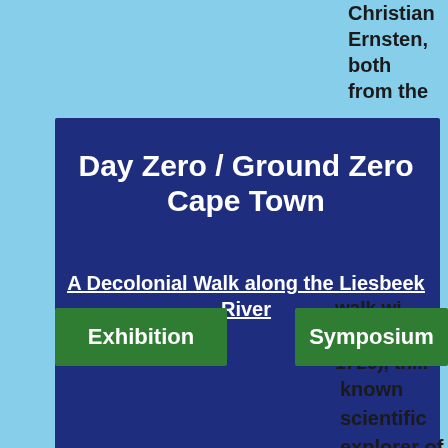Christian Ernsten, both from the
Day Zero / Ground Zero Cape Town
A Decolonial Walk along the Liesbeek River
walk wi... Kolb (16... 1726), the known scientific explorer of the Cape of Good Hope – or, more
Exhibition
Symposium